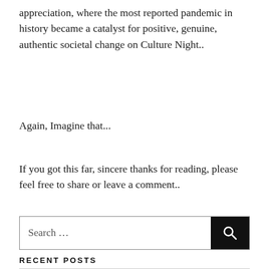appreciation, where the most reported pandemic in history became a catalyst for positive, genuine, authentic societal change on Culture Night..
Again, Imagine that...
If you got this far, sincere thanks for reading, please feel free to share or leave a comment..
[Figure (other): Search box with text 'Search ...' and a black search button with magnifying glass icon]
RECENT POSTS